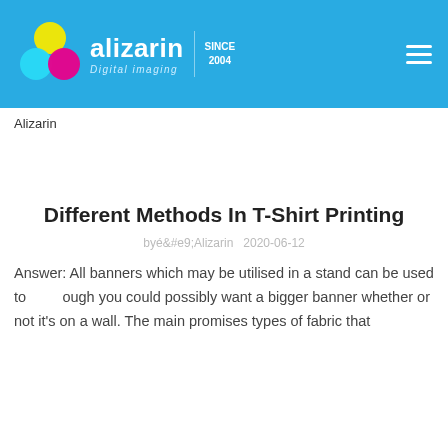alizarin Digital imaging | SINCE 2004
Alizarin
Different Methods In T-Shirt Printing
by Alizarin   2020-06-12
Answer: All banners which may be utilised in a stand can be used to though you could possibly want a bigger banner whether or not it's on a wall. The main promises types of fabric that